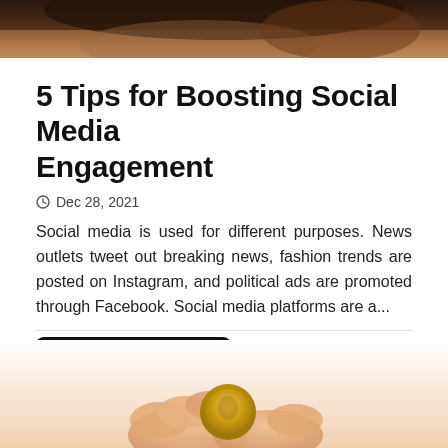[Figure (photo): Cropped photo of a person, showing part of face/clothing, dark tones at the top of the page]
5 Tips for Boosting Social Media Engagement
Dec 28, 2021
Social media is used for different purposes. News outlets tweet out breaking news, fashion trends are posted on Instagram, and political ads are promoted through Facebook. Social media platforms are a...
Continue Reading >
[Figure (photo): Hands holding a coin, fingers pinching a gold coin, soft background]